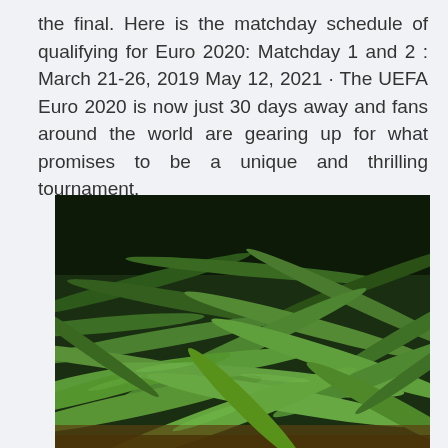the final. Here is the matchday schedule of qualifying for Euro 2020: Matchday 1 and 2 : March 21-26, 2019 May 12, 2021 · The UEFA Euro 2020 is now just 30 days away and fans around the world are gearing up for what promises to be a unique and thrilling tournament.
[Figure (photo): A close-up photograph of a large pile of fresh green beans (string beans), photographed from above and at an angle, showing many green bean pods overlapping each other against a dark background.]